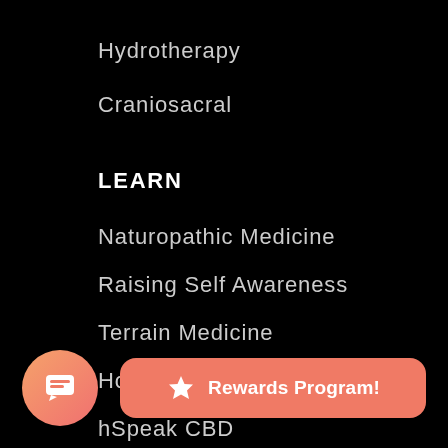Hydrotherapy
Craniosacral
LEARN
Naturopathic Medicine
Raising Self Awareness
Terrain Medicine
Home Self Care
hSpeak CBD
Recipes
[Figure (illustration): Circular chat button with gradient orange-pink background and chat bubble icon]
[Figure (illustration): Rewards Program button with star icon and salmon/coral background]